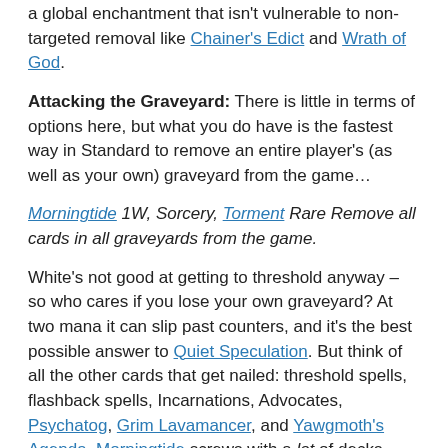a global enchantment that isn't vulnerable to non-targeted removal like Chainer's Edict and Wrath of God.
Attacking the Graveyard: There is little in terms of options here, but what you do have is the fastest way in Standard to remove an entire player's (as well as your own) graveyard from the game…
Morningtide 1W, Sorcery, Torment Rare Remove all cards in all graveyards from the game.
White's not good at getting to threshold anyway – so who cares if you lose your own graveyard? At two mana it can slip past counters, and it's the best possible answer to Quiet Speculation. But think of all the other cards that get nailed: threshold spells, flashback spells, Incarnations, Advocates, Psychatog, Grim Lavamancer, and Yawgmoth's Agenda. Morningtide screws with a lot of decks.
Coping with the rise of White/Green: What if white/green becomes popular, thanks to Anurid Brushhopper and